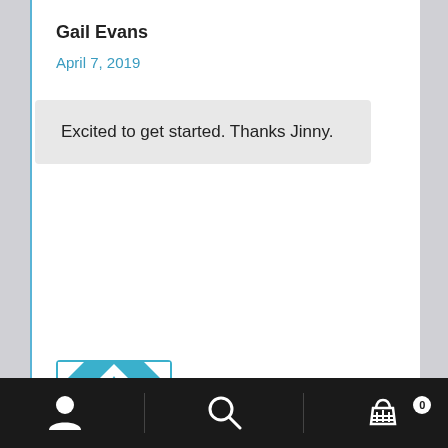Gail Evans
April 7, 2019
Excited to get started. Thanks Jinny.
[Figure (illustration): Decorative quilted pattern avatar icon in teal and white, square shaped]
Erica
April 7, 2019
[Figure (screenshot): Mobile app bottom navigation bar with person/account icon, search icon, and shopping basket icon with badge showing 0]